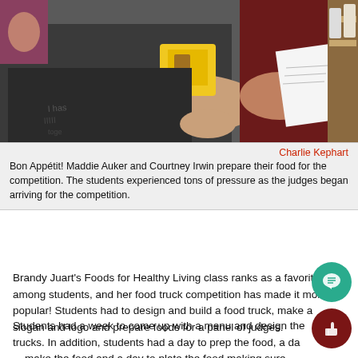[Figure (photo): Students Maddie Auker and Courtney Irwin handling food items and papers in a classroom kitchen/competition setting. One student wears a dark t-shirt, the other a dark red top.]
Charlie Kephart
Bon Appétit! Maddie Auker and Courtney Irwin prepare their food for the competition. The students experienced tons of pressure as the judges began arriving for the competition.
Brandy Juart's Foods for Healthy Living class ranks as a favorite among students, and her food truck competition has made it more popular! Students had to design and build a food truck, make a slogan and logo and prepare foods for a panel of judges.
Students had a week to come up with a menu and design the trucks. In addition, students had a day to prep the food, a day to make the food and a day to plate the food making sure everything